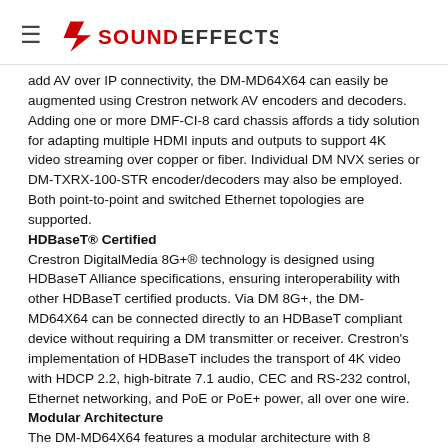SOUNDEFFECTS
add AV over IP connectivity, the DM-MD64X64 can easily be augmented using Crestron network AV encoders and decoders. Adding one or more DMF-CI-8 card chassis affords a tidy solution for adapting multiple HDMI inputs and outputs to support 4K video streaming over copper or fiber. Individual DM NVX series or DM-TXRX-100-STR encoder/decoders may also be employed. Both point-to-point and switched Ethernet topologies are supported.
HDBaseT® Certified
Crestron DigitalMedia 8G+® technology is designed using HDBaseT Alliance specifications, ensuring interoperability with other HDBaseT certified products. Via DM 8G+, the DM-MD64X64 can be connected directly to an HDBaseT compliant device without requiring a DM transmitter or receiver. Crestron's implementation of HDBaseT includes the transport of 4K video with HDCP 2.2, high-bitrate 7.1 audio, CEC and RS-232 control, Ethernet networking, and PoE or PoE+ power, all over one wire.
Modular Architecture
The DM-MD64X64 features a modular architecture with 8